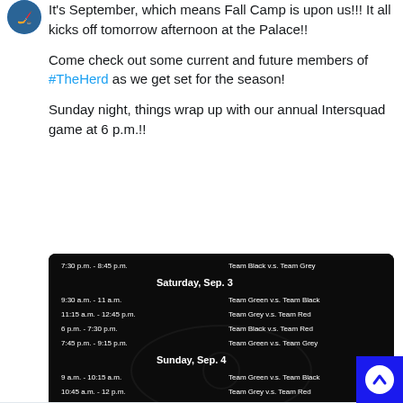[Figure (logo): Team logo avatar (circular, blue/teal hockey team logo)]
It's September, which means Fall Camp is upon us!!! It all kicks off tomorrow afternoon at the Palace!!
Come check out some current and future members of #TheHerd as we get set for the season!
Sunday night, things wrap up with our annual Intersquad game at 6 p.m.!!
[Figure (screenshot): Hockey camp schedule image showing: Friday: 7:30 p.m. - 8:45 p.m. Team Black v.s. Team Grey. Saturday, Sep. 3: 9:30 a.m. - 11 a.m. Team Green v.s. Team Black; 11:15 a.m. - 12:45 p.m. Team Grey v.s. Team Red; 6 p.m. - 7:30 p.m. Team Black v.s. Team Red; 7:45 p.m. - 9:15 p.m. Team Green v.s. Team Grey. Sunday, Sep. 4: 9 a.m. - 10:15 a.m. Team Green v.s. Team Black; 10:45 a.m. - 12 p.m. Team Grey v.s. Team Red; 6 p.m. INTERSQUAD GAME. Games are open to the public!]
1 comment, 30 likes